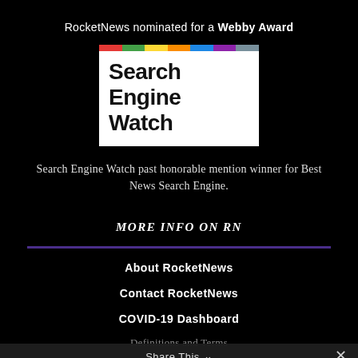RocketNews nominated for a Webby Award
[Figure (logo): Search Engine Watch logo with colorful stripe bar at top and bold text on white background]
Search Engine Watch past honorable mention winner for Best News Search Engine.
MORE INFO ON RN
About RocketNews
Contact RocketNews
COVID-19 Dashboard
Definitions and Terms
Privacy Policy
Share This ∨